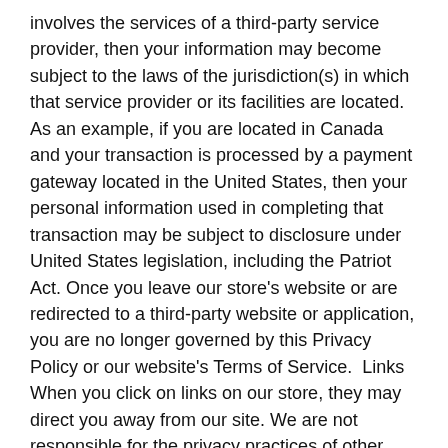involves the services of a third-party service provider, then your information may become subject to the laws of the jurisdiction(s) in which that service provider or its facilities are located. As an example, if you are located in Canada and your transaction is processed by a payment gateway located in the United States, then your personal information used in completing that transaction may be subject to disclosure under United States legislation, including the Patriot Act. Once you leave our store's website or are redirected to a third-party website or application, you are no longer governed by this Privacy Policy or our website's Terms of Service.  Links When you click on links on our store, they may direct you away from our site. We are not responsible for the privacy practices of other sites and encourage you to read their privacy statements.
SECTION 6 - SECURITY To protect your personal